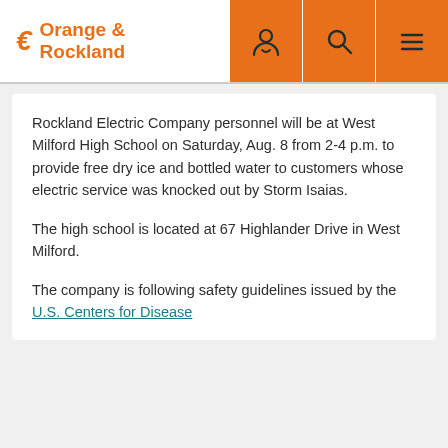Orange & Rockland
Rockland Electric Company personnel will be at West Milford High School on Saturday, Aug. 8 from 2-4 p.m. to provide free dry ice and bottled water to customers whose electric service was knocked out by Storm Isaias.
The high school is located at 67 Highlander Drive in West Milford.
The company is following safety guidelines issued by the U.S. Centers for Disease